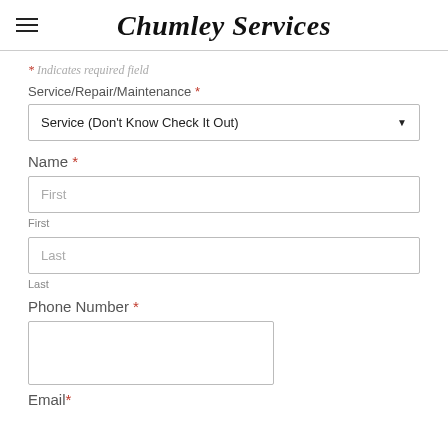Chumley Services
* Indicates required field
Service/Repair/Maintenance *
Service (Don't Know Check It Out)
Name *
First
First
Last
Last
Phone Number *
Email *